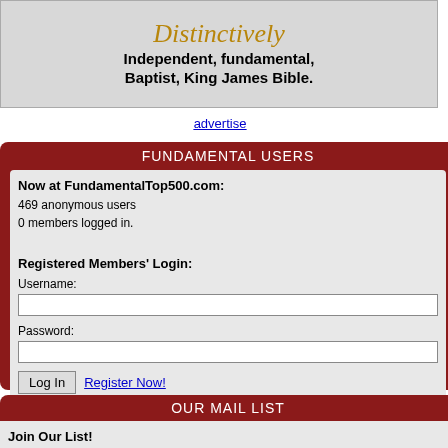[Figure (logo): Distinctively Independent, fundamental, Baptist, King James Bible. banner graphic]
advertise
FUNDAMENTAL USERS
Now at FundamentalTop500.com:
469 anonymous users
0 members logged in.

Registered Members' Login:
Username:
[input]
Password:
[input]
[Log In] Register Now!
Forgot My Password
OUR MAIL LIST
Join Our List!
Get tips, features, announcements, and more!
Your E-mail:
[input]
| # | Site | Votes | Hits |
| --- | --- | --- | --- |
| 64 | Estudos Biblicos Palavra Prudente - Bible Studies in Portuguese | 3 | 11 |
| 65 | Faithful Word Baptist Church | 3 | 4 |
| 66 | crestwoodbaptistministries.org | 3 | 5 |
| 67 | Revival In The Home Ministries, Inc | 3 | 17 |
| 68 | Old Paths Baptist Ministries | 3 | 3 |
| 69 | Cherith Bible Institute Online 5.00 stars | 3 | 7 |
| 70 | Faith Baptist Church of Colorado Springs | 2 | 7 |
| 71 | Chain the Beast: James Beller | 2 | 1 |
| 72 | The Baptist Pastor's Page | 2 | 0 |
| 73 | Water World FREE IFB KJV Resources | 2 | 1 |
| 74 | BERACHAH BAPTIST CHURCH TEMPLE GA <<OUTLINES & PREACHING>> **NEW | 2 | 12 |
| 75 | Hillbilly Housewife | 2 | 3 |
| 76 | Lifeline Philippines, Gospel Literature, Etc. | 2 | 0 |
| 77 | Jesus On the Web - Independent - Fundamental - Conservative - KJV 1611 - Baptist Site | 2 | 2 |
| 78 | Haven of Music. | 1 | 2 |
| 79 | Why Did Jesus Die? | 1 | 2 |
| 80 | Truth Baptist Bible College | 1 | 1 |
| 81 | Amazing Grace Bible Institute | 1 | 4 |